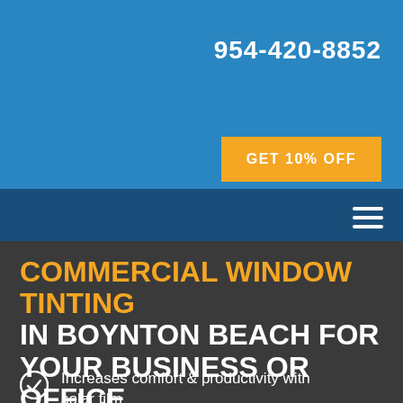954-420-8852
GET 10% OFF
COMMERCIAL WINDOW TINTING IN BOYNTON BEACH FOR YOUR BUSINESS OR OFFICE
Increases comfort & productivity with solar film